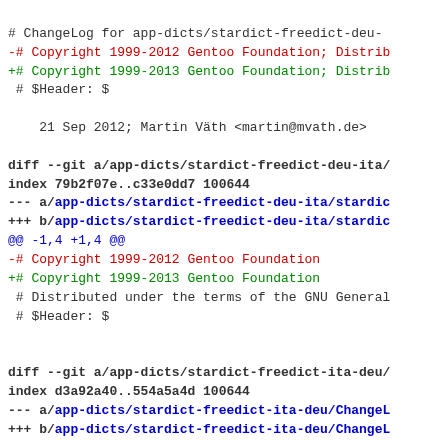# ChangeLog for app-dicts/stardict-freedict-deu-
-# Copyright 1999-2012 Gentoo Foundation; Distrib
+# Copyright 1999-2013 Gentoo Foundation; Distrib
 # $Header: $

    21 Sep 2012; Martin Väth <martin@mvath.de>

diff --git a/app-dicts/stardict-freedict-deu-ita/
index 79b2f07e..c33e0dd7 100644
--- a/app-dicts/stardict-freedict-deu-ita/stardic
+++ b/app-dicts/stardict-freedict-deu-ita/stardic
@@ -1,4 +1,4 @@
-# Copyright 1999-2012 Gentoo Foundation
+# Copyright 1999-2013 Gentoo Foundation
 # Distributed under the terms of the GNU General
 # $Header: $


diff --git a/app-dicts/stardict-freedict-ita-deu/
index d3a92a40..554a5a4d 100644
--- a/app-dicts/stardict-freedict-ita-deu/ChangeL
+++ b/app-dicts/stardict-freedict-ita-deu/ChangeL